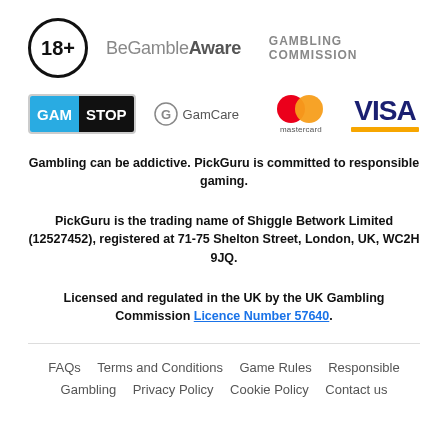[Figure (logo): 18+ age restriction badge, BeGambleAware logo, Gambling Commission logo]
[Figure (logo): GamStop logo, GamCare logo, Mastercard logo, Visa logo]
Gambling can be addictive. PickGuru is committed to responsible gaming.
PickGuru is the trading name of Shiggle Betwork Limited (12527452), registered at 71-75 Shelton Street, London, UK, WC2H 9JQ.
Licensed and regulated in the UK by the UK Gambling Commission Licence Number 57640.
FAQs   Terms and Conditions   Game Rules   Responsible Gambling   Privacy Policy   Cookie Policy   Contact us